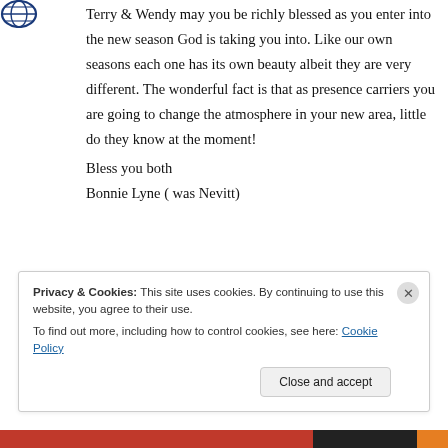[Figure (logo): Globe/world logo icon in dark blue, circular with grid lines]
Terry & Wendy may you be richly blessed as you enter into the new season God is taking you into. Like our own seasons each one has its own beauty albeit they are very different. The wonderful fact is that as presence carriers you are going to change the atmosphere in your new area, little do they know at the moment!
Bless you both
Bonnie Lyne ( was Nevitt)
Privacy & Cookies: This site uses cookies. By continuing to use this website, you agree to their use.
To find out more, including how to control cookies, see here: Cookie Policy
Close and accept